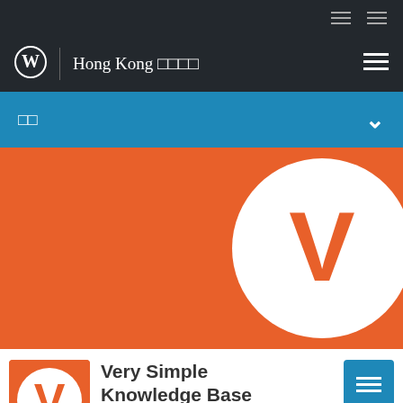□□  □□
Hong Kong □□□□
□□
[Figure (logo): Very Simple Knowledge Base logo — white V on orange circle, shown large on orange background hero section]
[Figure (logo): Very Simple Knowledge Base plugin icon — white V on orange circle inside orange square]
Very Simple Knowledge Base
由Guido